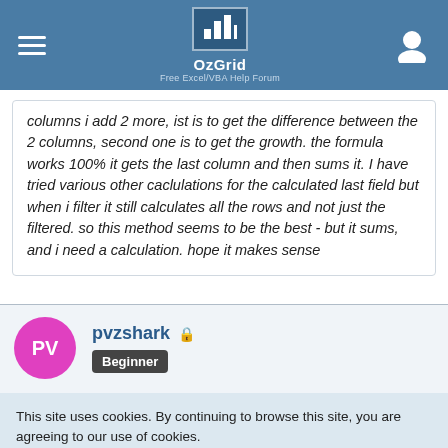OzGrid — Free Excel/VBA Help Forum
columns i add 2 more, ist is to get the difference between the 2 columns, second one is to get the growth. the formula works 100% it gets the last column and then sums it. I have tried various other caclulations for the calculated last field but when i filter it still calculates all the rows and not just the filtered. so this method seems to be the best - but it sums, and i need a calculation. hope it makes sense
pvzshark 🔒 Beginner